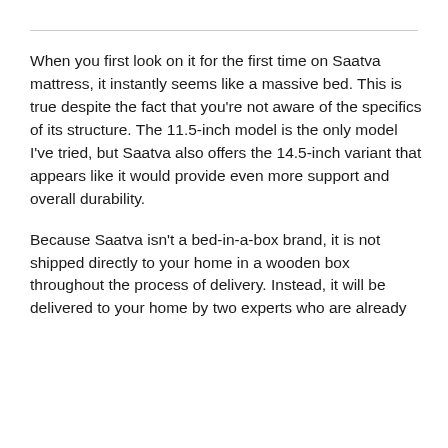When you first look on it for the first time on Saatva mattress, it instantly seems like a massive bed. This is true despite the fact that you're not aware of the specifics of its structure. The 11.5-inch model is the only model I've tried, but Saatva also offers the 14.5-inch variant that appears like it would provide even more support and overall durability.
Because Saatva isn't a bed-in-a-box brand, it is not shipped directly to your home in a wooden box throughout the process of delivery. Instead, it will be delivered to your home by two experts who are already